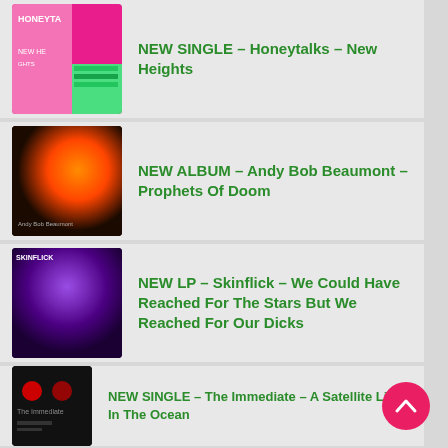NEW SINGLE – Honeytalks – New Heights
NEW ALBUM – Andy Bob Beaumont – Prophets Of Doom
NEW LP – Skinflick – We Could Have Reached For The Stars But We Reached For Our Dicks
NEW SINGLE – The Immediate – A Satellite Lies In The Ocean
NEW RELEASE – Magic Bullet & Friends – Communitas (Vol.1)
NEW RELEASE – The Immediate – Men Like Us EP